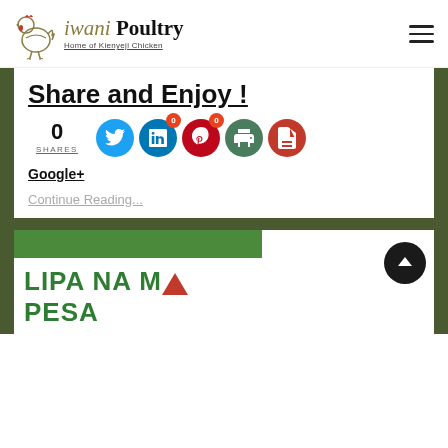Ziwani Poultry — Home of Kienyeji Chicken
Share and Enjoy !
0 SHARES
[Figure (infographic): Social share buttons: Twitter, LinkedIn, Pinterest, Print, PDF with share counts (0 badges)]
Google+
Continue Reading...
[Figure (photo): Lipa Na M-Pesa promotional image with green bar and text]